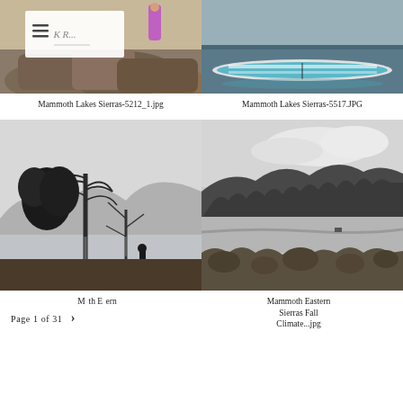[Figure (photo): Outdoor photo collage: person hiking on rocks with logo overlay on top, below is rocky landscape. Navigation hamburger icon and script logo visible.]
[Figure (photo): Paddleboard on calm lake water with mountains in background, teal/white board visible.]
Mammoth Lakes Sierras-5212_1.jpg
Mammoth Lakes Sierras-5517.JPG
[Figure (photo): Black and white photo of a person standing by a lake with bare trees reflecting in still water, mountains in background.]
[Figure (photo): Black and white photo of Eastern Sierras with forested hillside, open valley, and cloudy sky in fall.]
Mammoth Eastern...
Mammoth Eastern Sierras Fall Climate...jpg
Page 1 of 31  >